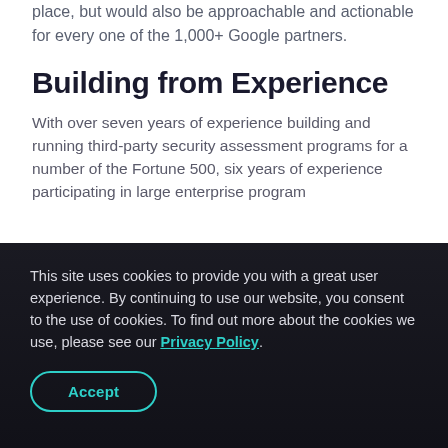place, but would also be approachable and actionable for every one of the 1,000+ Google partners.
Building from Experience
With over seven years of experience building and running third-party security assessment programs for a number of the Fortune 500, six years of experience participating in large enterprise program...
This site uses cookies to provide you with a great user experience. By continuing to use our website, you consent to the use of cookies. To find out more about the cookies we use, please see our Privacy Policy.
Accept